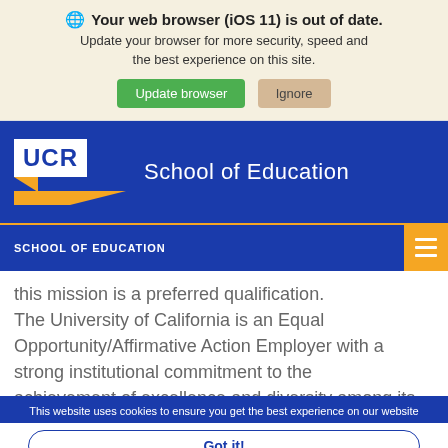[Figure (screenshot): Browser update notification banner with globe icon, bold heading 'Your web browser (iOS 11) is out of date.', subtitle text, green 'Update browser' button and tan 'Ignore' button on a cream background.]
[Figure (screenshot): UCR School of Education website header. Dark blue background with UCR logo (white box with blue UCR text and gold accent triangle) on left, and 'School of Education' text in white on right.]
SCHOOL OF EDUCATION
this mission is a preferred qualification. The University of California is an Equal Opportunity/Affirmative Action Employer with a strong institutional commitment to the achievement of excellence and diversity among its faculty, staff, the qualified applicant with
This website uses cookies to ensure you get the best experience on our website
Got it!